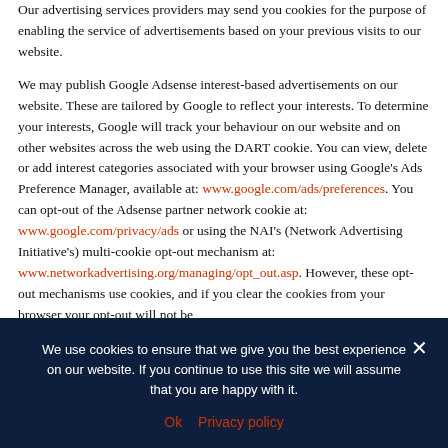Our advertising services providers may send you cookies for the purpose of enabling the service of advertisements based on your previous visits to our website.
We may publish Google Adsense interest-based advertisements on our website. These are tailored by Google to reflect your interests. To determine your interests, Google will track your behaviour on our website and on other websites across the web using the DART cookie. You can view, delete or add interest categories associated with your browser using Google's Ads Preference Manager, available at: www.google.com/ads/preferences. You can opt-out of the Adsense partner network cookie at: www.google.com/privacy/ads or using the NAI's (Network Advertising Initiative's) multi-cookie opt-out mechanism at: www.networkadvertising.org/managing/opt_out.asp. However, these opt-out mechanisms use cookies, and if you clear the cookies from your browser your opt-out will not be
We use cookies to ensure that we give you the best experience on our website. If you continue to use this site we will assume that you are happy with it.
Ok   Privacy policy